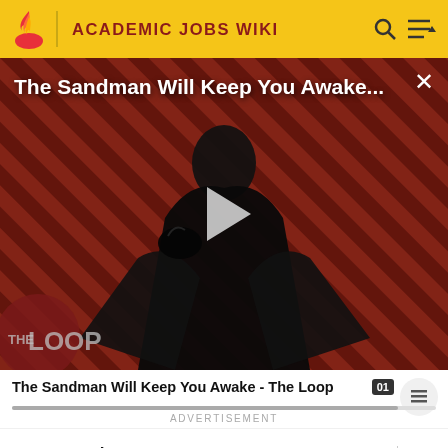ACADEMIC JOBS WIKI
[Figure (screenshot): Video thumbnail for 'The Sandman Will Keep You Awake - The Loop' showing a dark figure in a black cape against a red diagonal striped background, with THE LOOP logo, a play button, and video title overlay. Close (X) button in top right.]
The Sandman Will Keep You Awake - The Loop
ADVERTISEMENT
Instructions